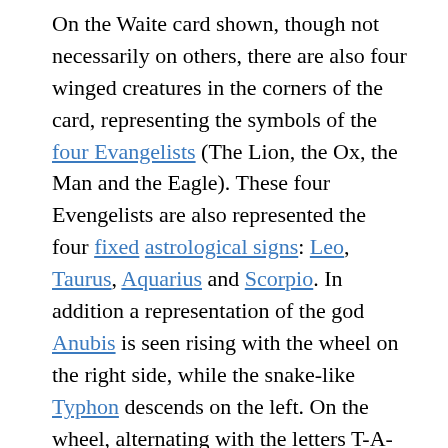On the Waite card shown, though not necessarily on others, there are also four winged creatures in the corners of the card, representing the symbols of the four Evangelists (The Lion, the Ox, the Man and the Eagle). These four Evengelists are also represented the four fixed astrological signs: Leo, Taurus, Aquarius and Scorpio. In addition a representation of the god Anubis is seen rising with the wheel on the right side, while the snake-like Typhon descends on the left. On the wheel, alternating with the letters T-A-R-O are the Hebrew letters ?-?-?-?, usually transliterated as YHWH (Yahweh), the name of the God of Israel.